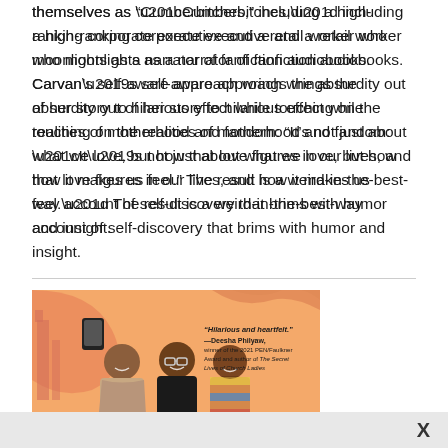themselves as “Cumberbitches,” including a high-ranking corporate executive and a retail worker who moonlights as a narrator of fanfiction audiobooks. Carvan’s self-aware approach wrings the absurdity out of her story to hilarious effect while touching on the realities of motherhood and fandom: “It’s not just about what we love, but how that love figures in our lives, and how it makes us feel.” The result is a weird-in-the-best-way account of self-discovery that brims with humor and insight.
[Figure (illustration): Book cover for 'BOYS' with illustration of three young Black men taking a selfie against a peach/orange background with city silhouette. Quote reads: 'Hilarious and heartfelt.' —Deesha Philyaw, winner of the 2021 PEN/Faulkner Award and author of The Secret Lives of Church Ladies]